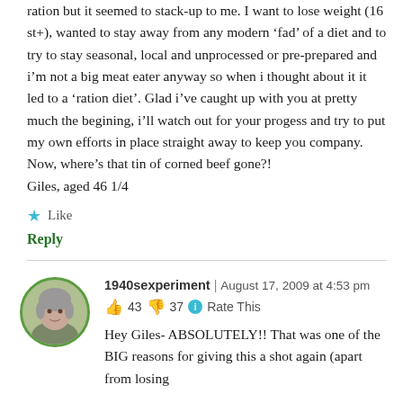ration but it seemed to stack-up to me. I want to lose weight (16 st+), wanted to stay away from any modern ‘fad’ of a diet and to try to stay seasonal, local and unprocessed or pre-prepared and i’m not a big meat eater anyway so when i thought about it it led to a ‘ration diet’. Glad i’ve caught up with you at pretty much the begining, i’ll watch out for your progess and try to put my own efforts in place straight away to keep you company. Now, where’s that tin of corned beef gone?!
Giles, aged 46 1/4
★ Like
Reply
1940sexperiment | August 17, 2009 at 4:53 pm
👍 43 👎 37 ⓘ Rate This
Hey Giles- ABSOLUTELY!! That was one of the BIG reasons for giving this a shot again (apart from losing